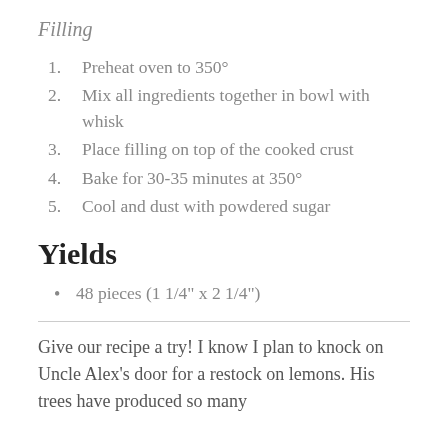Filling
Preheat oven to 350°
Mix all ingredients together in bowl with whisk
Place filling on top of the cooked crust
Bake for 30-35 minutes at 350°
Cool and dust with powdered sugar
Yields
48 pieces (1 1/4" x 2 1/4")
Give our recipe a try! I know I plan to knock on Uncle Alex's door for a restock on lemons. His trees have produced so many